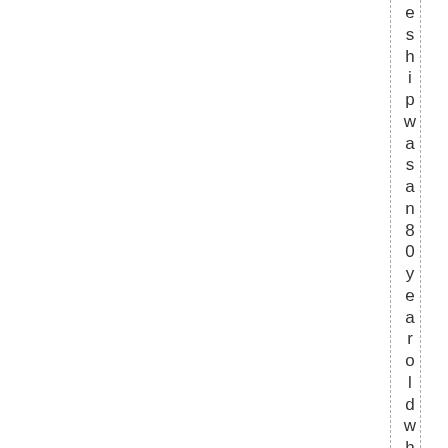e s h i p w a s a n 8 0 y e a r o l d w h o g o t